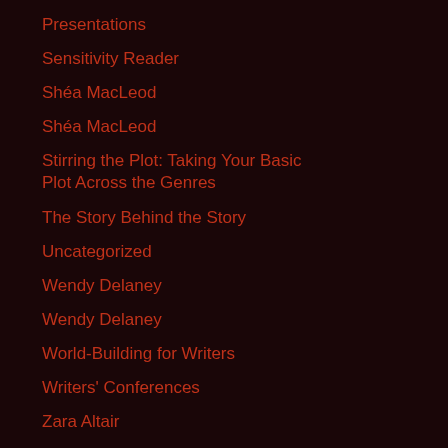Presentations
Sensitivity Reader
Shéa MacLeod
Shéa MacLeod
Stirring the Plot: Taking Your Basic Plot Across the Genres
The Story Behind the Story
Uncategorized
Wendy Delaney
Wendy Delaney
World-Building for Writers
Writers' Conferences
Zara Altair